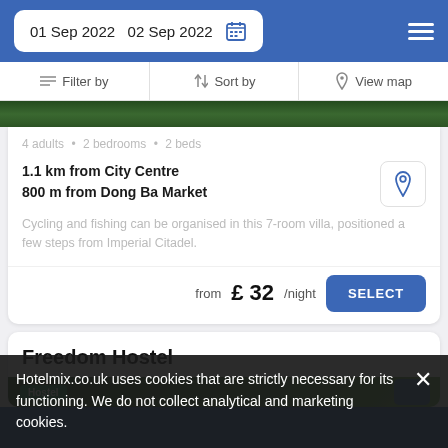01 Sep 2022  02 Sep 2022
Filter by  Sort by  View map
4 adults · 2 bedrooms · 2 beds
1.1 km from City Centre
800 m from Dong Ba Market
Cycling and fishing can be organised in this 7-room villa, positioned a few steps from Imperial Citadel.
from £ 32/night
Freedom Hostel
Hostel
Hotelmix.co.uk uses cookies that are strictly necessary for its functioning. We do not collect analytical and marketing cookies.